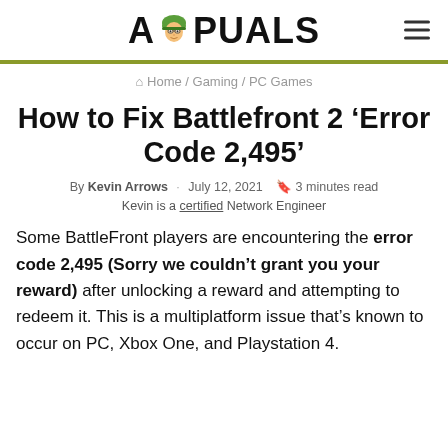APPUALS
Home / Gaming / PC Games
How to Fix Battlefront 2 ‘Error Code 2,495’
By Kevin Arrows · July 12, 2021 3 minutes read
Kevin is a certified Network Engineer
Some BattleFront players are encountering the error code 2,495 (Sorry we couldn’t grant you your reward) after unlocking a reward and attempting to redeem it. This is a multiplatform issue that’s known to occur on PC, Xbox One, and Playstation 4.